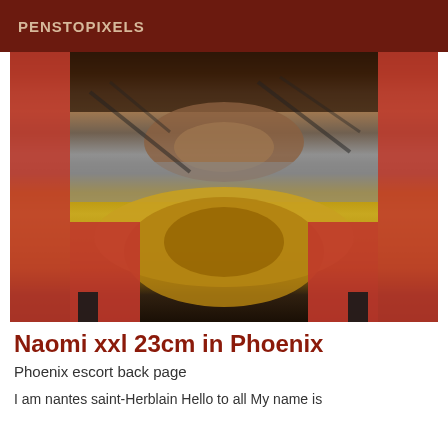PENSTOPIXELS
[Figure (photo): Person seated with red high heels and fishnet stockings, gold bowl visible at bottom center reflecting image]
Naomi xxl 23cm in Phoenix
Phoenix escort back page
I am nantes saint-Herblain Hello to all My name is